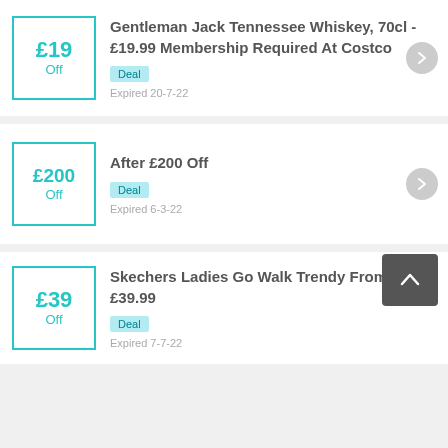£19 Off
Gentleman Jack Tennessee Whiskey, 70cl - £19.99 Membership Required At Costco
Deal
Expired 20-7-22
£200 Off
After £200 Off
Deal
Expired 6-3-22
£39 Off
Skechers Ladies Go Walk Trendy From Only £39.99
Deal
Expired 7-7-22